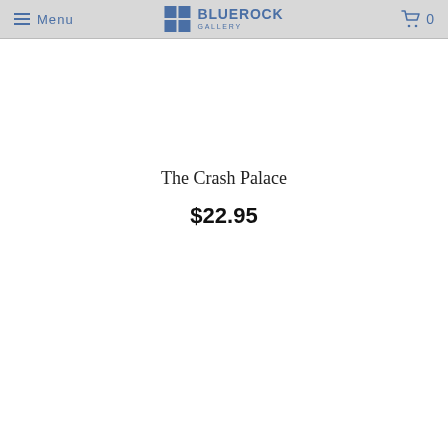Menu | BLUEROCK GALLERY | 0
The Crash Palace
$22.95